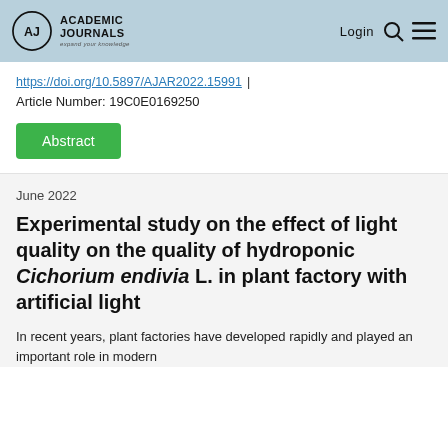Academic Journals — Login
https://doi.org/10.5897/AJAR2022.15991 | Article Number: 19C0E0169250
Abstract
June 2022
Experimental study on the effect of light quality on the quality of hydroponic Cichorium endivia L. in plant factory with artificial light
In recent years, plant factories have developed rapidly and played an important role in modern